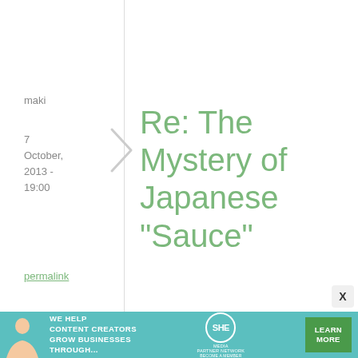maki
7 October, 2013 - 19:00
permalink
Re: The Mystery of Japanese "Sauce"
Unfortunately, just about all commercial tonkatsu sauce and similar "sauce" has
[Figure (infographic): Advertisement banner: SHE Media Partner Network. Text reads 'We help content creators grow businesses through...' with a Learn More button.]